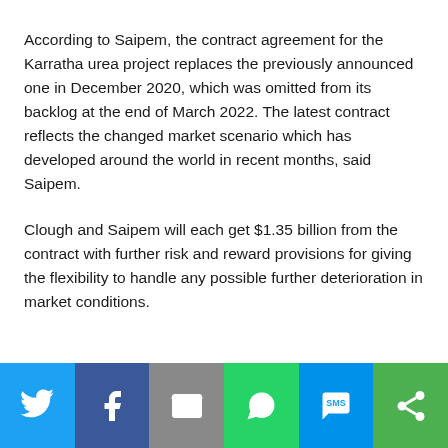According to Saipem, the contract agreement for the Karratha urea project replaces the previously announced one in December 2020, which was omitted from its backlog at the end of March 2022. The latest contract reflects the changed market scenario which has developed around the world in recent months, said Saipem.
Clough and Saipem will each get $1.35 billion from the contract with further risk and reward provisions for giving the flexibility to handle any possible further deterioration in market conditions.
[Figure (infographic): Social share bar with six buttons: Twitter (light blue), Facebook (dark blue), Email (grey), WhatsApp (green), SMS (blue), More (green)]